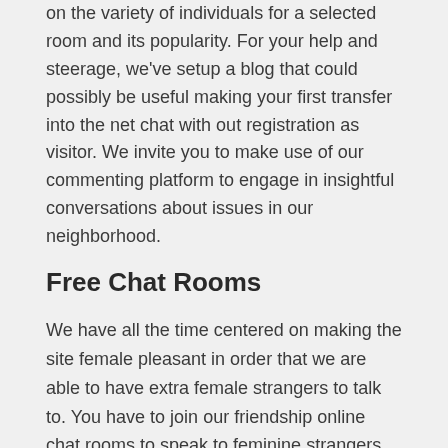on the variety of individuals for a selected room and its popularity. For your help and steerage, we've setup a blog that could possibly be useful making your first transfer into the net chat with out registration as visitor. We invite you to make use of our commenting platform to engage in insightful conversations about issues in our neighborhood.
Free Chat Rooms
We have all the time centered on making the site female pleasant in order that we are able to have extra female strangers to talk to. You have to join our friendship online chat rooms to speak to feminine strangers online and meet like minded girls to befriend and have a webcam chat. We facilitate our customers with a non-public chatting environment which is one to a minimal of one. Also users can create a password protect room to be used of their own and in order to create closed groups for his or her associates to have online video calling/ facetime. Flirtymania is a free video chat platform with millions of users.
It's reliable, real, and all-around a great expertise. Convenient and free sign-up and fast to get started. The site is sort of